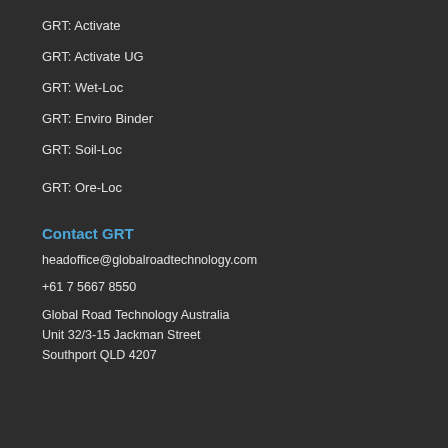GRT: Activate
GRT: Activate UG
GRT: Wet-Loc
GRT: Enviro Binder
GRT: Soil-Loc
GRT: Ore-Loc
Contact GRT
headoffice@globalroadtechnology.com
+61 7 5667 8550
Global Road Technology Australia
Unit 32/3-15 Jackman Street
Southport QLD 4207